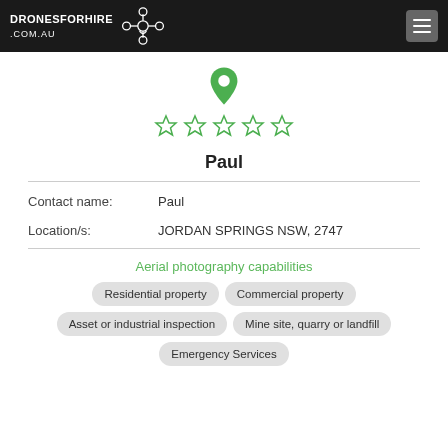DRONESFORHIRE.COM.AU
[Figure (logo): Green map pin location icon above five empty star ratings]
Paul
Contact name: Paul
Location/s: JORDAN SPRINGS NSW, 2747
Aerial photography capabilities
Residential property
Commercial property
Asset or industrial inspection
Mine site, quarry or landfill
Emergency Services